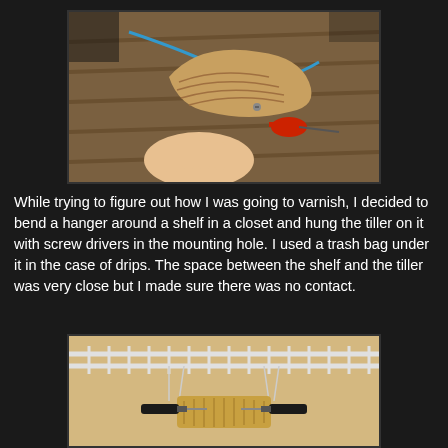[Figure (photo): A hand holding a wooden tiller piece, shaped and sanded, with a workbench in the background showing tools including a red drill.]
While trying to figure out how I was going to varnish, I decided to bend a hanger around a shelf in a closet and hung the tiller on it with screw drivers in the mounting hole. I used a trash bag under it in the case of drips. The space between the shelf and the tiller was very close but I made sure there was no contact.
[Figure (photo): A wooden tiller hanging on a wire closet shelf, supported by two screwdrivers inserted through a mounting hole, with a wire rack shelf visible above.]